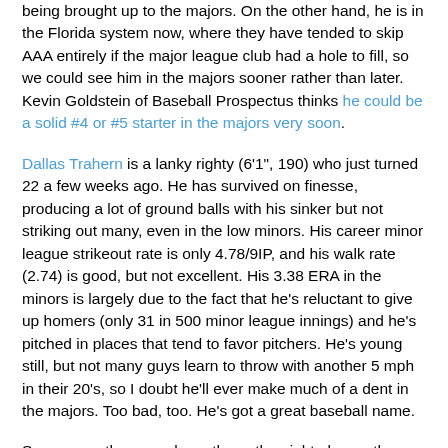being brought up to the majors. On the other hand, he is in the Florida system now, where they have tended to skip AAA entirely if the major league club had a hole to fill, so we could see him in the majors sooner rather than later. Kevin Goldstein of Baseball Prospectus thinks he could be a solid #4 or #5 starter in the majors very soon.
Dallas Trahern is a lanky righty (6'1", 190) who just turned 22 a few weeks ago. He has survived on finesse, producing a lot of ground balls with his sinker but not striking out many, even in the low minors. His career minor league strikeout rate is only 4.78/9IP, and his walk rate (2.74) is good, but not excellent. His 3.38 ERA in the minors is largely due to the fact that he's reluctant to give up homers (only 31 in 500 minor league innings) and he's pitched in places that tend to favor pitchers. He's young still, but not many guys learn to throw with another 5 mph in their 20's, so I doubt he'll ever make much of a dent in the majors. Too bad, too. He's got a great baseball name.
So anyway, there you have them, the eight players the Tigers have surrendered in order that they might achieve